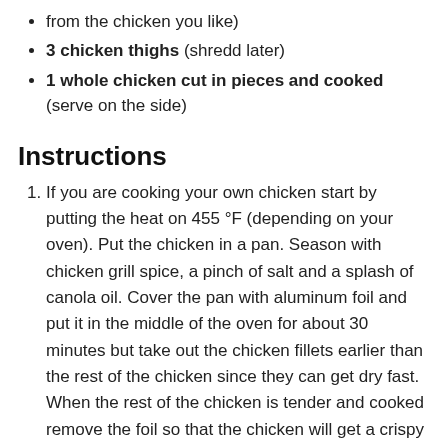from the chicken you like)
3 chicken thighs (shredd later)
1 whole chicken cut in pieces and cooked (serve on the side)
Instructions
If you are cooking your own chicken start by putting the heat on 455 °F (depending on your oven). Put the chicken in a pan. Season with chicken grill spice, a pinch of salt and a splash of canola oil. Cover the pan with aluminum foil and put it in the middle of the oven for about 30 minutes but take out the chicken fillets earlier than the rest of the chicken since they can get dry fast. When the rest of the chicken is tender and cooked remove the foil so that the chicken will get a crispy and grilled surface.
Put the minced meat in a large bowl. Squeeze the garlic with a presser and put it in the bowl. Add the black pepper and salt and mix all of it together. Start shaping small round meatballs. When you are done with the